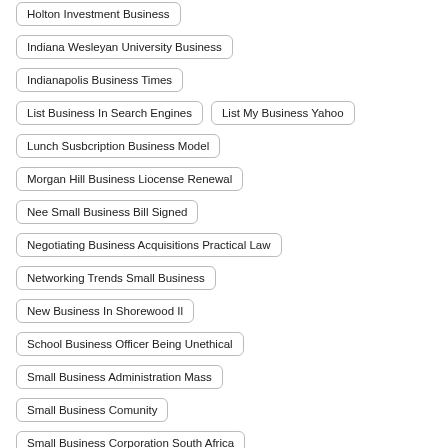Holton Investment Business
Indiana Wesleyan University Business
Indianapolis Business Times
List Business In Search Engines
List My Business Yahoo
Lunch Susbcription Business Model
Morgan Hill Business Liocense Renewal
Nee Small Business Bill Signed
Negotiating Business Acquisitions Practical Law
Networking Trends Small Business
New Business In Shorewood Il
School Business Officer Being Unethical
Small Business Administration Mass
Small Business Comunity
Small Business Corporation South Africa